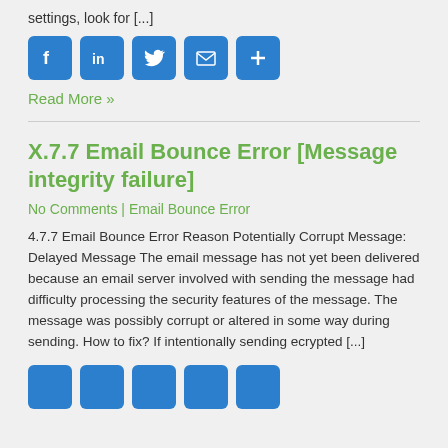settings, look for [...]
[Figure (infographic): Social sharing buttons: Facebook, LinkedIn, Twitter, Email, More]
Read More »
X.7.7 Email Bounce Error [Message integrity failure]
No Comments | Email Bounce Error
4.7.7 Email Bounce Error Reason Potentially Corrupt Message: Delayed Message The email message has not yet been delivered because an email server involved with sending the message had difficulty processing the security features of the message. The message was possibly corrupt or altered in some way during sending. How to fix? If intentionally sending ecrypted [...]
[Figure (infographic): Social sharing buttons row at bottom: Facebook, LinkedIn, Twitter, Email, More]